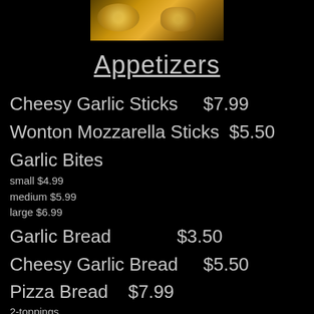[Figure (photo): Photo of pizza or cheesy bread from above, golden-brown with cheese and toppings on a dark background]
Appetizers
Cheesy Garlic Sticks   $7.99
Wonton Mozzarella Sticks  $5.50
Garlic Bites
small $4.99
medium $5.99
large $6.99
Garlic Bread            $3.50
Cheesy Garlic Bread    $5.50
Pizza Bread   $7.99
2-toppings